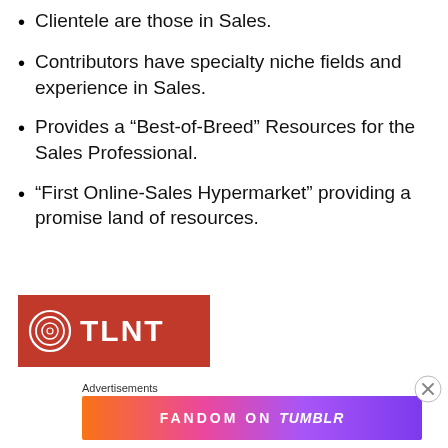Clientele are those in Sales.
Contributors have specialty niche fields and experience in Sales.
Provides a “Best-of-Breed” Resources for the Sales Professional.
“First Online-Sales Hypermarket” providing a promise land of resources.
[Figure (logo): TLNT logo — red rectangle with white concentric circle icon on left and white bold text TLNT on right]
Advertisements
[Figure (infographic): FANDOM ON tumblr advertisement banner with colorful gradient background (orange to purple) and white bold text]